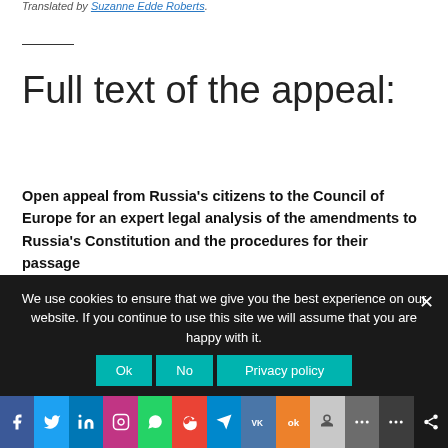Translated by Suzanne Edde Roberts.
Full text of the appeal:
Open appeal from Russia's citizens to the Council of Europe for an expert legal analysis of the amendments to Russia's Constitution and the procedures for their passage
The post-Soviet transformations in Russia were accompanied by a constitutional reform accomplished by the passage of the 1993 Constitution of the Russian
We use cookies to ensure that we give you the best experience on our website. If you continue to use this site we will assume that you are happy with it.